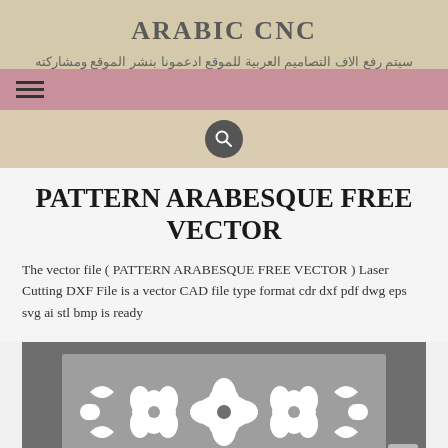ARABIC CNC
سيتم رفع الاف التصاميم العربية للموقع ادعمونا بنشر الموقع ومشاركته
PATTERN ARABESQUE FREE VECTOR
The vector file ( PATTERN ARABESQUE FREE VECTOR ) Laser Cutting DXF File is a vector CAD file type format cdr dxf pdf dwg eps svg ai stl bmp is ready
[Figure (illustration): Arabesque decorative pattern on dark gray background showing white interlocking floral and geometric Islamic design elements]